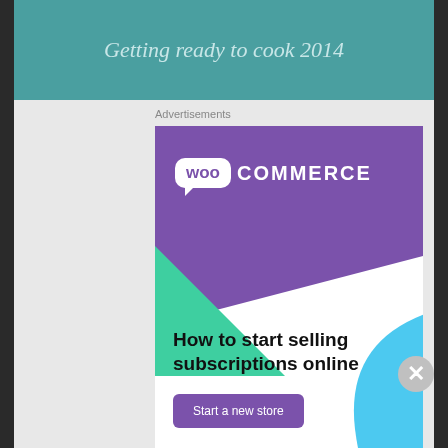[Figure (screenshot): Teal/green header banner with italic text 'Getting ready to cook 2014']
Advertisements
[Figure (screenshot): WooCommerce advertisement: purple banner with WooCommerce logo, green triangle shape, blue curved shape, text 'How to start selling subscriptions online', purple button 'Start a new store']
1/10/2018
Advertisements
[Figure (screenshot): WordPress.com advertisement with gradient background (purple to blue): 'Simplified pricing for everything you need.' with WordPress.com logo]